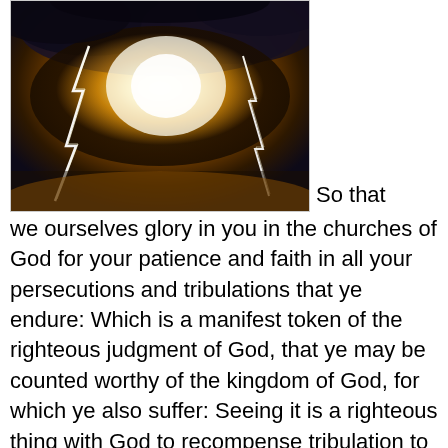[Figure (photo): Dramatic storm clouds with lightning bolts striking through a dark, amber-lit sky]
So that we ourselves glory in you in the churches of God for your patience and faith in all your persecutions and tribulations that ye endure: Which is a manifest token of the righteous judgment of God, that ye may be counted worthy of the kingdom of God, for which ye also suffer: Seeing it is a righteous thing with God to recompense tribulation to them that trouble you; And to you who are troubled rest with us, when the Lord Jesus shall be revealed from heaven with his mighty angels, In flaming fire taking vengeance on them that know not God, and that obey not the gospel of our Lord Jesus Christ: Who shall be punished with everlasting destruction from the presence of